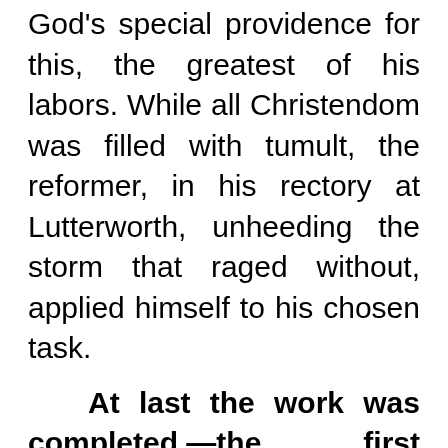God's special providence for this, the greatest of his labors. While all Christendom was filled with tumult, the reformer, in his rectory at Lutterworth, unheeding the storm that raged without, applied himself to his chosen task.
At last the work was completed,—the first English translation of the Bible ever made. The Word of God was